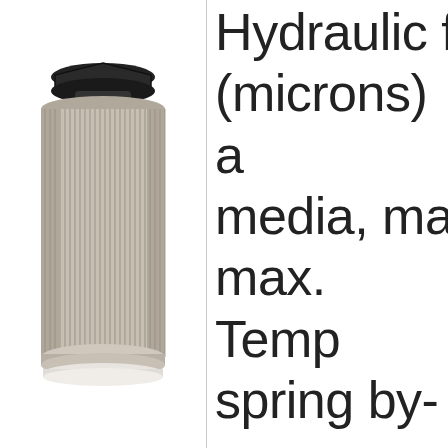[Figure (photo): A cylindrical hydraulic filter element with a black threaded top cap and pleated stainless steel mesh body, shown vertically on a white background.]
Hydraulic (microns) media, ma max. Temp spring by-p Pressure ( with petrol High qualit by Baldwin confidence